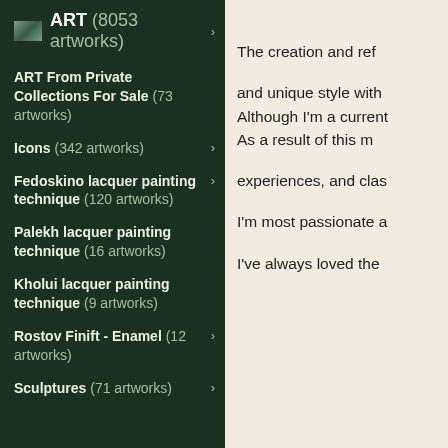ART (8053 artworks)
ART From Private Collections For Sale (73 artworks)
Icons (342 artworks)
Fedoskino lacquer painting technique (120 artworks)
Palekh lacquer painting technique (16 artworks)
Kholui lacquer painting technique (9 artworks)
Rostov Finift - Enamel (12 artworks)
Sculptures (71 artworks)
The creation and ref
and unique style with Although I'm a current As a result of this m
experiences, and clas
I'm most passionate a
I've always loved the